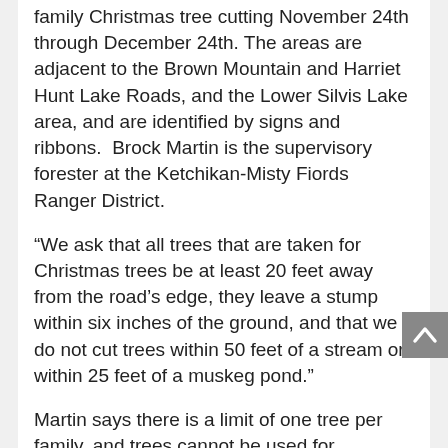family Christmas tree cutting November 24th through December 24th. The areas are adjacent to the Brown Mountain and Harriet Hunt Lake Roads, and the Lower Silvis Lake area, and are identified by signs and ribbons.  Brock Martin is the supervisory forester at the Ketchikan-Misty Fiords Ranger District.
“We ask that all trees that are taken for Christmas trees be at least 20 feet away from the road’s edge, they leave a stump within six inches of the ground, and that we do not cut trees within 50 feet of a stream or within 25 feet of a muskeg pond.”
Martin says there is a limit of one tree per family, and trees cannot be used for commercial purposes.  Tall trees should not be cut just for the top. Harvest is allowed only in designated areas of the National Forest, and not from adjacent private